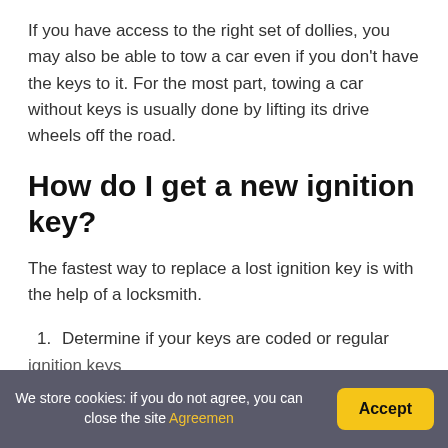If you have access to the right set of dollies, you may also be able to tow a car even if you don't have the keys to it. For the most part, towing a car without keys is usually done by lifting its drive wheels off the road.
How do I get a new ignition key?
The fastest way to replace a lost ignition key is with the help of a locksmith.
1. Determine if your keys are coded or regular ignition keys
We store cookies: if you do not agree, you can close the site Agreement